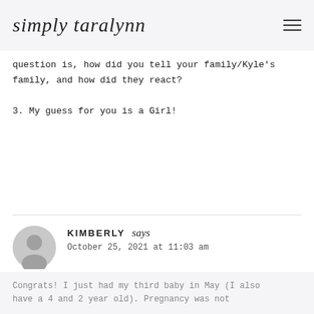simply taralynn
question is, how did you tell your family/Kyle's family, and how did they react?

3. My guess for you is a Girl!
REPLY
KIMBERLY says
October 25, 2021 at 11:03 am
Congrats! I just had my third baby in May (I also have a 4 and 2 year old). Pregnancy was not